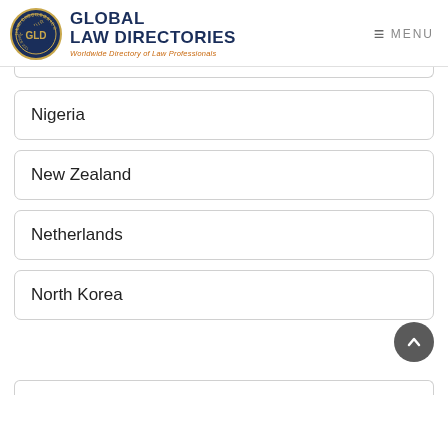GLOBAL LAW DIRECTORIES — Worldwide Directory of Law Professionals
Nigeria
New Zealand
Netherlands
North Korea